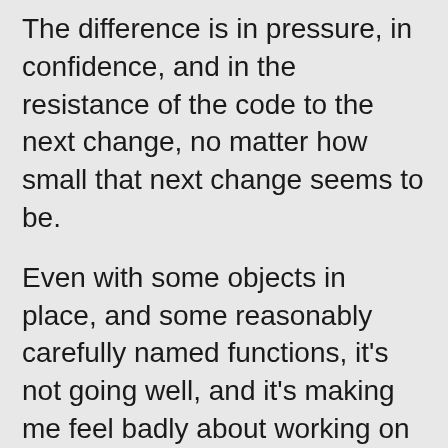The difference is in pressure, in confidence, and in the resistance of the code to the next change, no matter how small that next change seems to be.
Even with some objects in place, and some reasonably carefully named functions, it's not going well, and it's making me feel badly about working on it. And I am in no way pretending or acting: I really do feel badly about this program and how it's going.
And yet, it's progressing fairly well. It works, and aside from some flaky tests, nothing ever seems to break. That makes me think I can just put in these next few